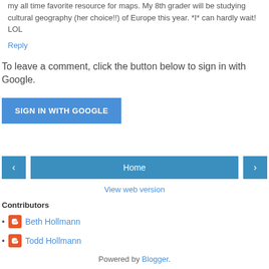my all time favorite resource for maps. My 8th grader will be studying cultural geography (her choice!!) of Europe this year. *I* can hardly wait! LOL
Reply
To leave a comment, click the button below to sign in with Google.
SIGN IN WITH GOOGLE
Home
View web version
Contributors
Beth Hollmann
Todd Hollmann
Powered by Blogger.